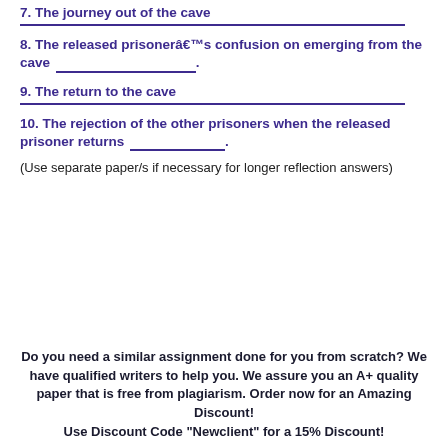7. The journey out of the cave _________________________.
8. The released prisonerâ€™s confusion on emerging from the cave _________________.
9. The return to the cave _________________________.
10. The rejection of the other prisoners when the released prisoner returns ___________.
(Use separate paper/s if necessary for longer reflection answers)
Do you need a similar assignment done for you from scratch? We have qualified writers to help you. We assure you an A+ quality paper that is free from plagiarism. Order now for an Amazing Discount! Use Discount Code "Newclient" for a 15% Discount!